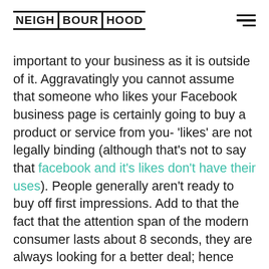NEIGH | BOUR | HOOD
important to your business as it is outside of it. Aggravatingly you cannot assume that someone who likes your Facebook business page is certainly going to buy a product or service from you- 'likes' are not legally binding (although that's not to say that facebook and it's likes don't have their uses). People generally aren't ready to buy off first impressions. Add to that the fact that the attention span of the modern consumer lasts about 8 seconds, they are always looking for a better deal; hence why businesses develop methods to keep their leads on the hook.